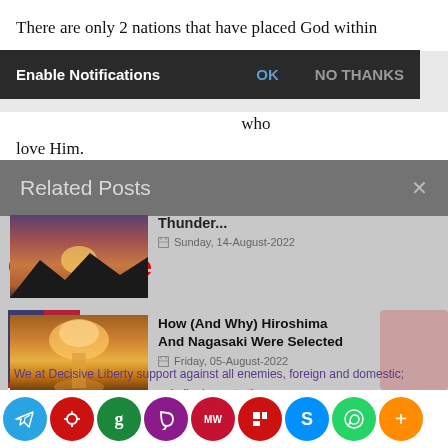There are only 2 nations that have placed God within their constitutions: Israel and the US – and only God knows who love Him.
[Figure (screenshot): Browser notification prompt with dark background: 'Enable Notifications' label, 'OK' button in blue, 'NO THANKS' button in gray]
Related Posts
[Figure (screenshot): Thumbnail image of sunset sky with mountains]
Thunder...
Sunday, 14-August-2022
Our Pledge
[Figure (photo): Nuclear explosion mushroom cloud]
How (And Why) Hiroshima And Nagasaki Were Selected
Friday, 05-August-2022
We at Decisive Liberty support against all enemies, foreign and domestic; that we will bear true faith and allegiance to the same; that we take this obligation freely, without any mental reserva
[Figure (screenshot): Social sharing bar with icons: Telegram, Minds, Gab, Parler, MeWe, Flipboard, Skype, WhatsApp, Plus]